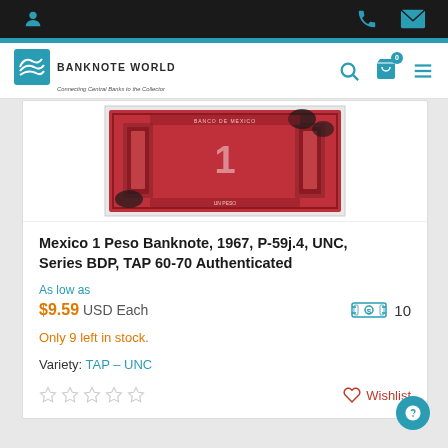Banknote World — Connecting Central Banks to the Collector
[Figure (photo): Back of a red/pink Mexico 1 Peso banknote, 1967, with ornate design and the numeral 1 in the center, showing black stamp marks on the corners]
Mexico 1 Peso Banknote, 1967, P-59j.4, UNC, Series BDP, TAP 60-70 Authenticated
As low as
$9.59 USD Each
10
Only 9 left in stock.
Variety: TAP – UNC
Wishlist